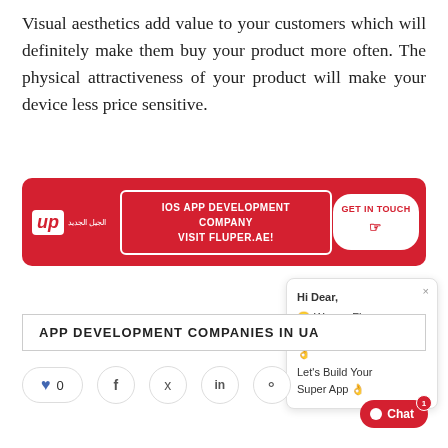Visual aesthetics add value to your customers which will definitely make them buy your product more often. The physical attractiveness of your product will make your device less price sensitive.
[Figure (screenshot): Red advertisement banner for IOS App Development Company - Visit Fluper.ae with Get In Touch button]
[Figure (screenshot): Chat widget popup from Fluper saying Hi Dear, We are Fluper! We are Super! Let's Build Your Super App with a Chat button]
APP DEVELOPMENT COMPANIES IN UA
[Figure (screenshot): Social sharing bar with like/heart count of 0, and icons for Facebook, Twitter, LinkedIn, Pinterest]